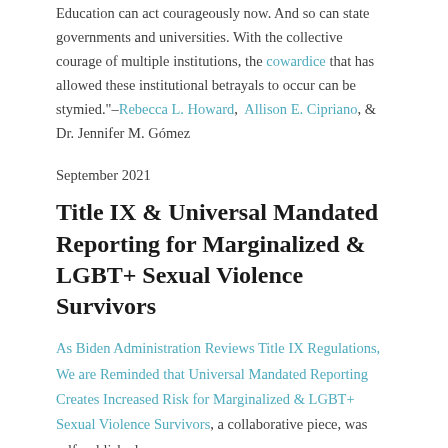Education can act courageously now. And so can state governments and universities. With the collective courage of multiple institutions, the cowardice that has allowed these institutional betrayals to occur can be stymied."–Rebecca L. Howard, Allison E. Cipriano, & Dr. Jennifer M. Gómez
September 2021
Title IX & Universal Mandated Reporting for Marginalized & LGBT+ Sexual Violence Survivors
As Biden Administration Reviews Title IX Regulations, We are Reminded that Universal Mandated Reporting Creates Increased Risk for Marginalized & LGBT+ Sexual Violence Survivors, a collaborative piece, was self-published.